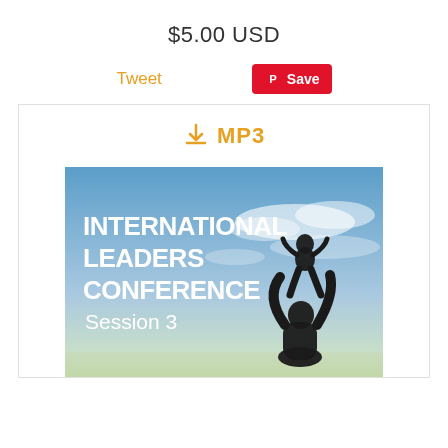$5.00 USD
Tweet
Save
MP3
[Figure (photo): International Leaders Conference Session 3 album art — silhouette of adult lifting child against a blue sky with clouds, with bold white text 'INTERNATIONAL LEADERS CONFERENCE Session 3' on the left]